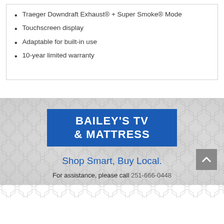Traeger Downdraft Exhaust® + Super Smoke® Mode
Touchscreen display
Adaptable for built-in use
10-year limited warranty
[Figure (logo): Bailey's TV & Mattress logo — white bold text on blue background]
Shop Smart, Buy Local.
For assistance, please call 251-666-0448